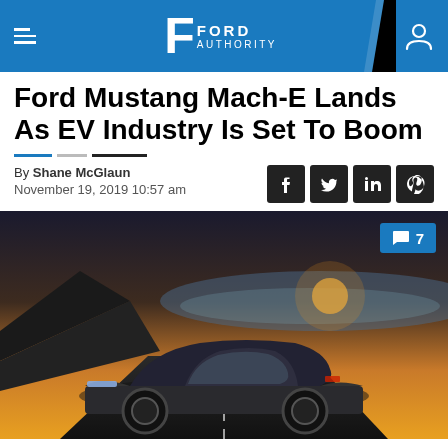Ford Authority
Ford Mustang Mach-E Lands As EV Industry Is Set To Boom
By Shane McGlaun
November 19, 2019 10:57 am
[Figure (photo): Ford Mustang Mach-E electric SUV driving on a coastal road at sunset with ocean cliffs in background. Comment badge showing 7 comments.]